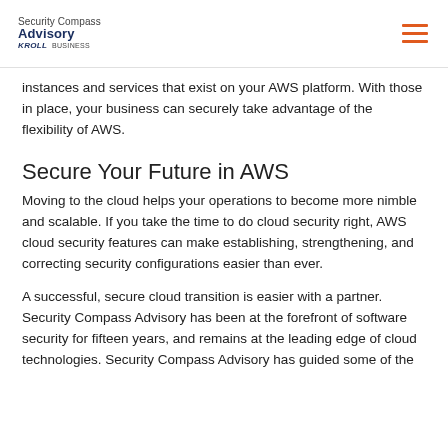Security Compass Advisory A KROLL BUSINESS
instances and services that exist on your AWS platform. With those in place, your business can securely take advantage of the flexibility of AWS.
Secure Your Future in AWS
Moving to the cloud helps your operations to become more nimble and scalable. If you take the time to do cloud security right, AWS cloud security features can make establishing, strengthening, and correcting security configurations easier than ever.
A successful, secure cloud transition is easier with a partner. Security Compass Advisory has been at the forefront of software security for fifteen years, and remains at the leading edge of cloud technologies. Security Compass Advisory has guided some of the